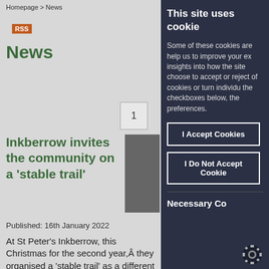Homepage > News
[Figure (other): RSS badge - orange rectangle with white RSS text]
News
1
[Figure (photo): Article thumbnail photo, partially visible]
Inkberrow invites the community on a 'stable trail'
Published: 16th January 2022
At St Peter's Inkberrow, this Christmas for the second year,Â they organised a 'stable trail' as a different way to tell
This site uses cookie
Some of these cookies are help us to improve your ex insights into how the site choose to accept or reject of cookies or turn individu the checkboxes below, the preferences.
I Accept Cookies
I Do Not Accept Cookie
Necessary Co